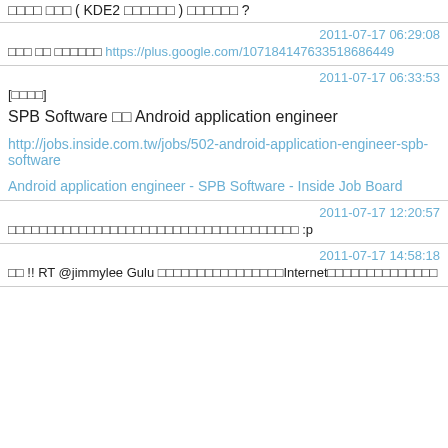□□□□ □□□ ( KDE2 □□□□□□ ) □□□□□□ ?
2011-07-17 06:29:08
□□□ □□ □□□□□□ https://plus.google.com/107184147633518686449
2011-07-17 06:33:53
[□□□□]
SPB Software □□ Android application engineer
http://jobs.inside.com.tw/jobs/502-android-application-engineer-spb-software
Android application engineer - SPB Software - Inside Job Board
2011-07-17 12:20:57
□□□□□□□□□□□□□□□□□□□□□□□□□□□□□□□□□□□□□ :p
2011-07-17 14:58:18
□□ !! RT @jimmylee Gulu □□□□□□□□□□□□□□□□Internet□□□□□□□□□□□□□□